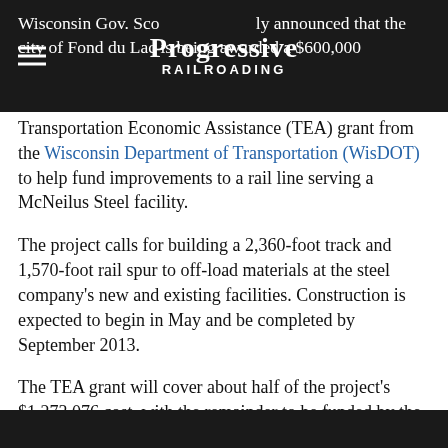Progressive Railroading
Wisconsin Gov. Scott Walker recently announced that the city of Fond du Lac is being awarded a $600,000 Transportation Economic Assistance (TEA) grant from the Wisconsin Department of Transportation (WisDOT) to help fund improvements to a rail line serving a McNeilus Steel facility.
The project calls for building a 2,360-foot track and 1,570-foot rail spur to off-load materials at the steel company's new and existing facilities. Construction is expected to begin in May and be completed by September 2013.
The TEA grant will cover about half of the project's $1,273,076 cost, with the remainder to be funded by the city and McNeilus Steel. In spring, McNeilus Steel expects to complete a $20 million warehouse addition